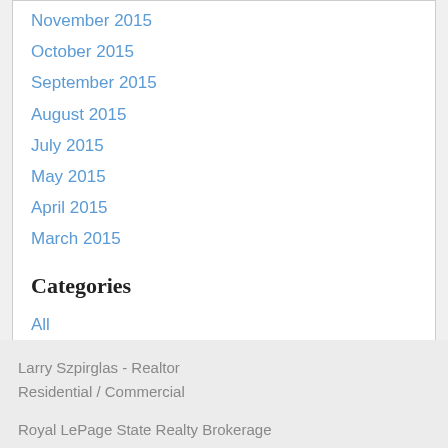November 2015
October 2015
September 2015
August 2015
July 2015
May 2015
April 2015
March 2015
Categories
All
RSS Feed
Larry Szpirglas - Realtor
Residential / Commercial
Royal LePage State Realty Brokerage
1122 WILSON STREET W.
ANCASTER ON  L9G 3K9
(905) 648 4451